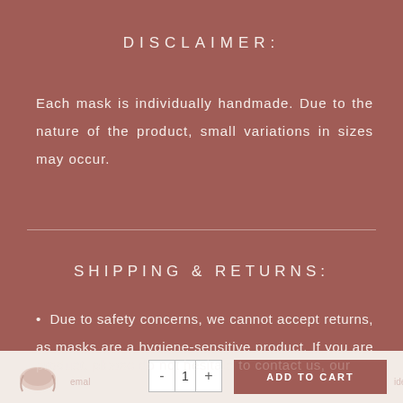DISCLAIMER:
Each mask is individually handmade. Due to the nature of the product, small variations in sizes may occur.
SHIPPING & RETURNS:
Due to safety concerns, we cannot accept returns, as masks are a hygiene-sensitive product. If you are not satisfied with any Aerde product, please do not hesitate to contact us, our email...